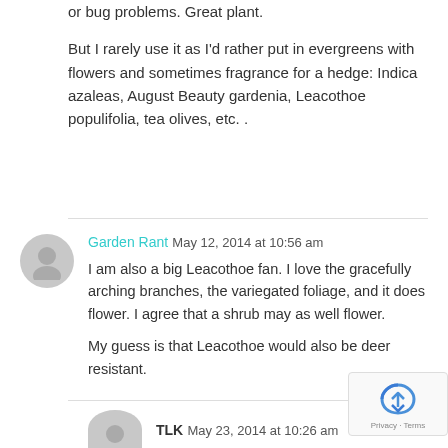or bug problems. Great plant.

But I rarely use it as I'd rather put in evergreens with flowers and sometimes fragrance for a hedge: Indica azaleas, August Beauty gardenia, Leacothoe populifolia, tea olives, etc. .
Garden Rant  May 12, 2014 at 10:56 am

I am also a big Leacothoe fan. I love the gracefully arching branches, the variegated foliage, and it does flower. I agree that a shrub may as well flower.

My guess is that Leacothoe would also be deer resistant.
TLK  May 23, 2014 at 10:26 am